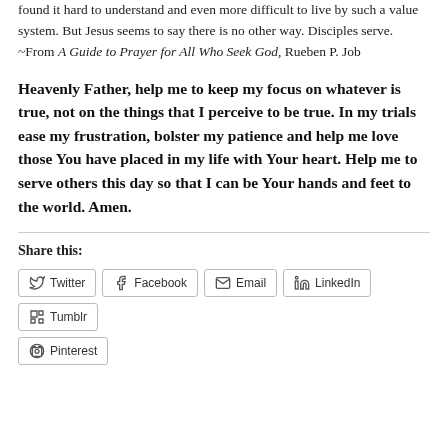found it hard to understand and even more difficult to live by such a value system. But Jesus seems to say there is no other way. Disciples serve. ~From A Guide to Prayer for All Who Seek God, Rueben P. Job
Heavenly Father, help me to keep my focus on whatever is true, not on the things that I perceive to be true. In my trials ease my frustration, bolster my patience and help me love those You have placed in my life with Your heart. Help me to serve others this day so that I can be Your hands and feet to the world. Amen.
Share this:
Twitter Facebook Email LinkedIn Tumblr Pinterest